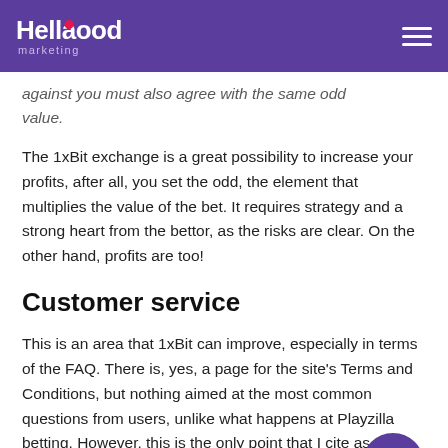Hellagood marketing
against you must also agree with the same odd value.
The 1xBit exchange is a great possibility to increase your profits, after all, you set the odd, the element that multiplies the value of the bet. It requires strategy and a strong heart from the bettor, as the risks are clear. On the other hand, profits are too!
Customer service
This is an area that 1xBit can improve, especially in terms of the FAQ. There is, yes, a page for the site's Terms and Conditions, but nothing aimed at the most common questions from users, unlike what happens at Playzilla betting. However, this is the only point that I cite as an improvement in the